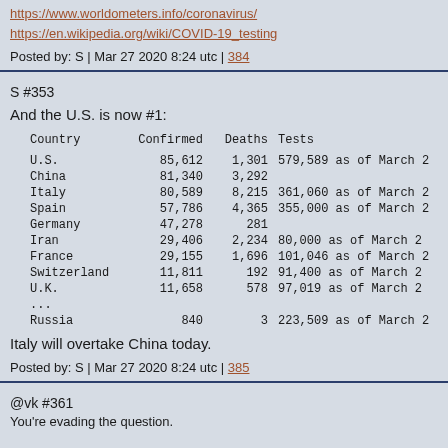https://www.worldometers.info/coronavirus/
https://en.wikipedia.org/wiki/COVID-19_testing
Posted by: S | Mar 27 2020 8:24 utc | 384
S #353
And the U.S. is now #1:
| Country | Confirmed | Deaths | Tests |
| --- | --- | --- | --- |
| U.S. | 85,612 | 1,301 | 579,589 as of March … |
| China | 81,340 | 3,292 |  |
| Italy | 80,589 | 8,215 | 361,060 as of March … |
| Spain | 57,786 | 4,365 | 355,000 as of March … |
| Germany | 47,278 | 281 |  |
| Iran | 29,406 | 2,234 | 80,000 as of March … |
| France | 29,155 | 1,696 | 101,046 as of March … |
| Switzerland | 11,811 | 192 | 91,400 as of March … |
| U.K. | 11,658 | 578 | 97,019 as of March … |
| ... |  |  |  |
| Russia | 840 | 3 | 223,509 as of March … |
Italy will overtake China today.
Posted by: S | Mar 27 2020 8:24 utc | 385
@vk #361
You're evading the question.